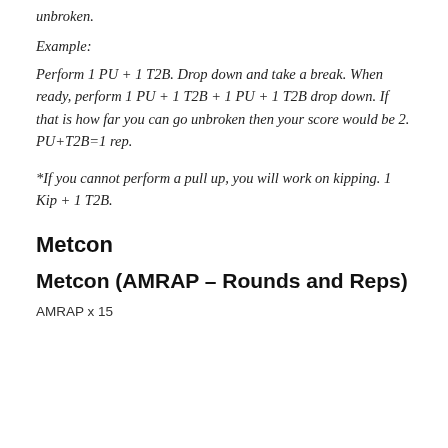unbroken.
Example:
Perform 1 PU + 1 T2B. Drop down and take a break. When ready, perform 1 PU + 1 T2B + 1 PU + 1 T2B drop down. If that is how far you can go unbroken then your score would be 2. PU+T2B=1 rep.
*If you cannot perform a pull up, you will work on kipping. 1 Kip + 1 T2B.
Metcon
Metcon (AMRAP – Rounds and Reps)
AMRAP x 15